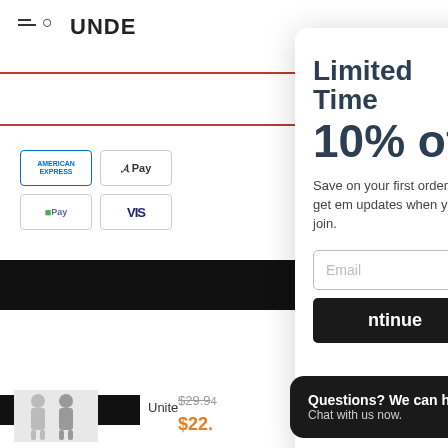[Figure (screenshot): Background e-commerce website showing logo 'UNDE' (truncated), payment method icons (American Express, Apple Pay, Shop Pay, Visa), black navigation bar, and a product listing with original price $29.94 and sale price $22. partially visible.]
Limited Time
10% off
Save on your first order and get em updates when you join.
Email
Continue
Questions? We can help. Chat with us now.